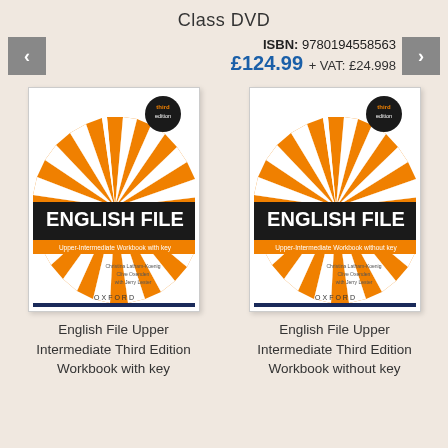Class DVD
ISBN: 9780194558563
£124.99 + VAT: £24.998
[Figure (photo): Book cover of English File Upper Intermediate Third Edition Workbook with key, showing orange sunburst design on white background with Oxford branding]
[Figure (photo): Book cover of English File Upper Intermediate Third Edition Workbook without key, showing orange sunburst design on white background with Oxford branding]
English File Upper Intermediate Third Edition Workbook with key
English File Upper Intermediate Third Edition Workbook without key